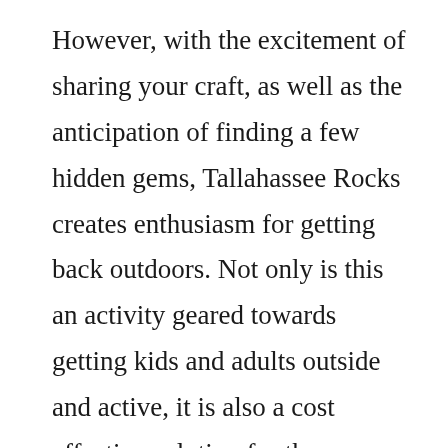However, with the excitement of sharing your craft, as well as the anticipation of finding a few hidden gems, Tallahassee Rocks creates enthusiasm for getting back outdoors. Not only is this an activity geared towards getting kids and adults outside and active, it is also a cost effective solution for those looking to have a blast on a budget.
For more information and to see the artwork others have chosen to decorate their rocks check out the Tallahassee Rocks Facebook